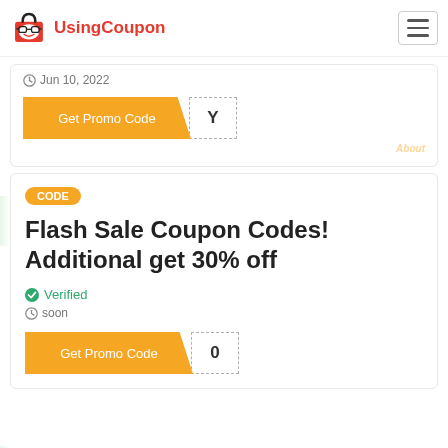UsingCoupon
Jun 10, 2022
Get Promo Code  Y
CODE
Flash Sale Coupon Codes! Additional get 30% off
Verified
soon
Get Promo Code  0